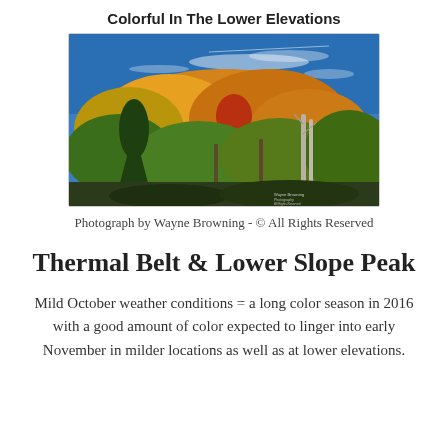Colorful In The Lower Elevations
[Figure (photo): Autumn foliage photograph showing colorful trees (orange, yellow, red, green) against a bright blue sky with wispy clouds, taken at lower elevations. Photograph by Wayne Browning.]
Photograph by Wayne Browning - © All Rights Reserved
Thermal Belt & Lower Slope Peak
Mild October weather conditions = a long color season in 2016 with a good amount of color expected to linger into early November in milder locations as well as at lower elevations.